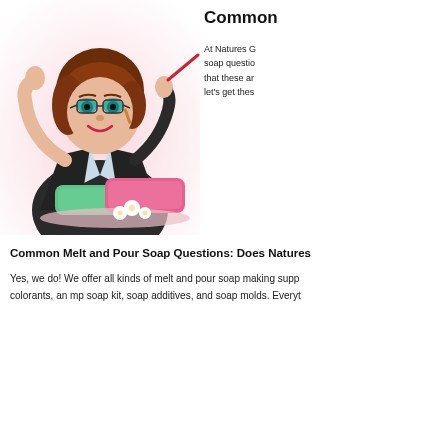[Figure (illustration): Cartoon 3D illustrated woman with brown hair and glasses, wearing a black blazer, gesturing with one hand raised holding a red pointer, with colorful soap bars and white flowers in front of her, on a pink-white gradient background.]
Common
At Natures G soap questio that these ar let's get thes
Common Melt and Pour Soap Questions: Does Natures
Yes, we do! We offer all kinds of melt and pour soap making supp colorants, an mp soap kit, soap additives, and soap molds. Everyt